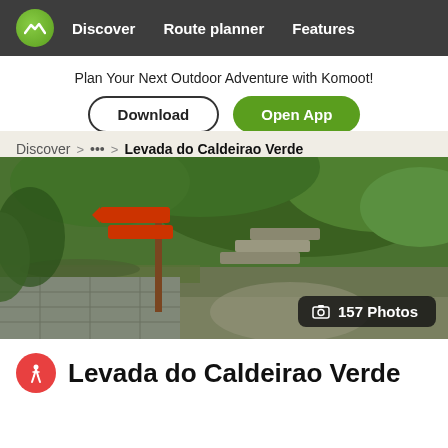Discover  Route planner  Features
Plan Your Next Outdoor Adventure with Komoot!
Download  Open App
Discover > ... > Levada do Caldeirao Verde
[Figure (photo): Outdoor trail photo showing stone steps, moss-covered walls, wooden trail signpost, and lush green ferns in a forest. Badge reads: 157 Photos.]
Levada do Caldeirao Verde